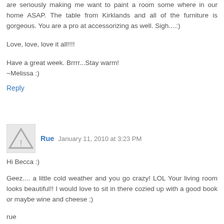are seriously making me want to paint a room some where in our home ASAP. The table from Kirklands and all of the furniture is gorgeous. You are a pro at accessorizing as well. Sigh....:)
Love, love, love it all!!!!
Have a great week. Brrrr...Stay warm!
~Melissa :)
Reply
Rue  January 11, 2010 at 3:23 PM
Hi Becca :)
Geez.... a little cold weather and you go crazy! LOL Your living room looks beautiful!! I would love to sit in there cozied up with a good book or maybe wine and cheese ;)
rue
Reply